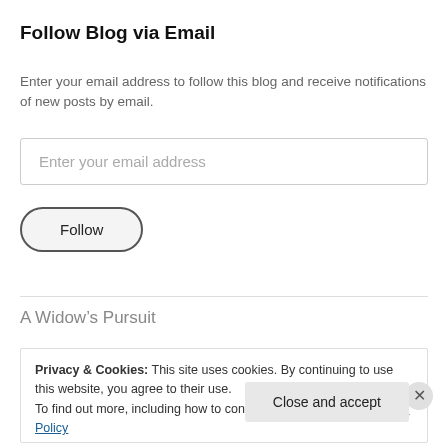Follow Blog via Email
Enter your email address to follow this blog and receive notifications of new posts by email.
Enter your email address
Follow
A Widow’s Pursuit
Privacy & Cookies: This site uses cookies. By continuing to use this website, you agree to their use.
To find out more, including how to control cookies, see here: Cookie Policy
Close and accept